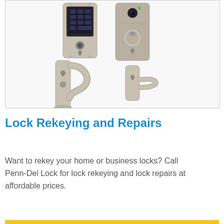[Figure (photo): Product photo showing Schlage lockset components: two smart/electronic deadbolts at the top (one touchscreen keypad, one with camera/sensor), and below them a handleset with decorative grip handle on the left and a lever handle on the right, all in satin nickel finish.]
Lock Rekeying and Repairs
Want to rekey your home or business locks? Call Penn-Del Lock for lock rekeying and lock repairs at affordable prices.